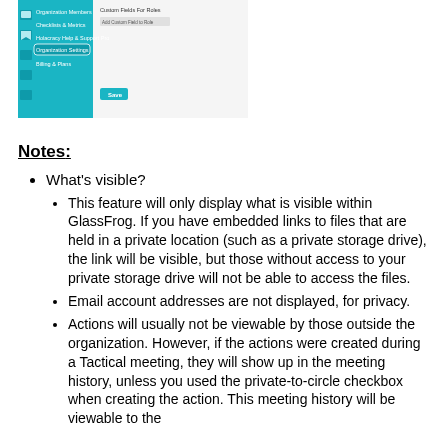[Figure (screenshot): Screenshot of GlassFrog organization settings interface showing a sidebar menu with items including Organization Members, Checklists & Metrics, Holacracy Help & Support Pro, Organization Settings (highlighted in teal), Billing & Plans, and a main content area with Custom Fields and Add Custom Field to Role button and a Save button.]
Notes:
What's visible?
This feature will only display what is visible within GlassFrog. If you have embedded links to files that are held in a private location (such as a private storage drive), the link will be visible, but those without access to your private storage drive will not be able to access the files.
Email account addresses are not displayed, for privacy.
Actions will usually not be viewable by those outside the organization. However, if the actions were created during a Tactical meeting, they will show up in the meeting history, unless you used the private-to-circle checkbox when creating the action. This meeting history will be viewable to the